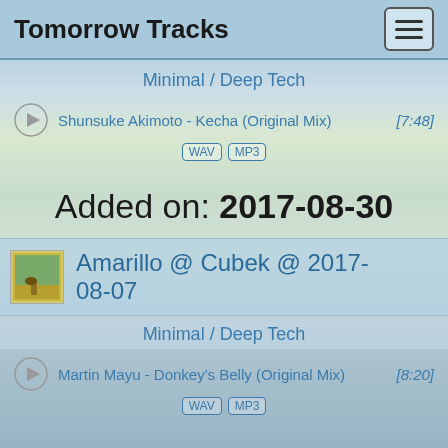Tomorrow Tracks
Minimal / Deep Tech
Shunsuke Akimoto - Kecha (Original Mix) [7:48]
WAV MP3
Added on: 2017-08-30
Amarillo @ Cubek @ 2017-08-07
Minimal / Deep Tech
Martin Mayu - Donkey's Belly (Original Mix) [8:20]
WAV MP3